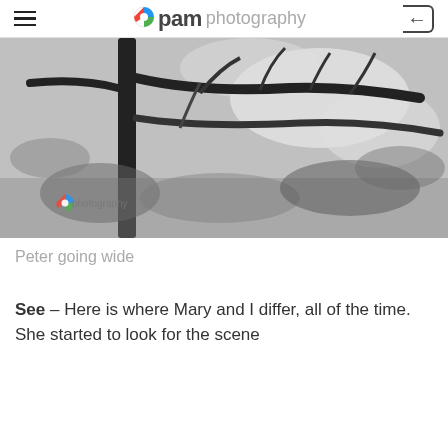pam photography
[Figure (photo): Black and white photograph of tree branches viewed from below, with intricate patterns of branches and foliage against a bright sky. A small pam photography logo watermark is visible in the lower left corner.]
Peter going wide
See – Here is where Mary and I differ, all of the time. She started to look for the scene